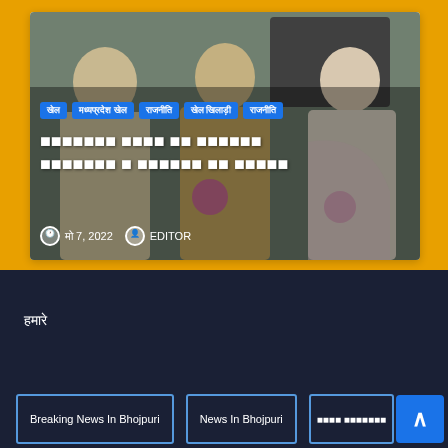[Figure (photo): Three men standing together, possibly at an official or ceremonial event. The men appear to be in formal/semi-formal attire. Pink flowers visible in their hands.]
खेल | मध्यप्रदेश खेल | राजनीति | खेल खिलाड़ी | राजनीति
■■■■■■■ ■■■■ ■■ ■■■■■■ ■■■■■■■ ■ ■■■■■■ ■■ ■■■■■
मो 7, 2022   EDITOR
हमारे
Breaking News In Bhojpuri   News In Bhojpuri   ■■■■ ■■■■■■■